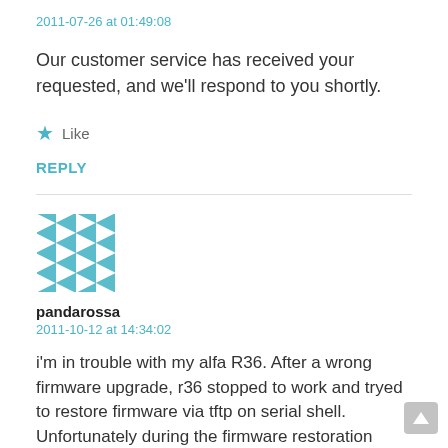2011-07-26 at 01:49:08
Our customer service has received your requested, and we'll respond to you shortly.
Like
REPLY
[Figure (illustration): Avatar icon with teal and white geometric/quilt pattern]
pandarossa
2011-10-12 at 14:34:02
i'm in trouble with my alfa R36. After a wrong firmware upgrade, r36 stopped to work and tryed to restore firmware via tftp on serial shell. Unfortunately during the firmware restoration power as gone for a second and r36 u-boot